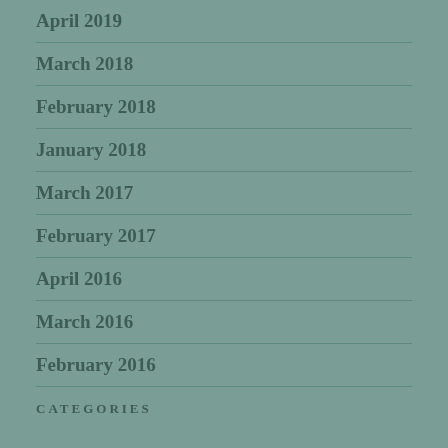April 2019
March 2018
February 2018
January 2018
March 2017
February 2017
April 2016
March 2016
February 2016
CATEGORIES